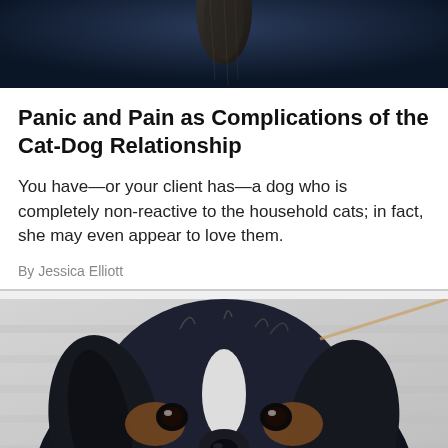[Figure (photo): Close-up of a dark animal paw or tail against a dark blue background, cropped at the top of the page]
Panic and Pain as Complications of the Cat-Dog Relationship
You have—or your client has—a dog who is completely non-reactive to the household cats; in fact, she may even appear to love them.
By Jessica Elliott
[Figure (photo): Close-up portrait of a Cavalier King Charles Spaniel with black, white, and tan fur, looking directly at the camera against a blurred light background]